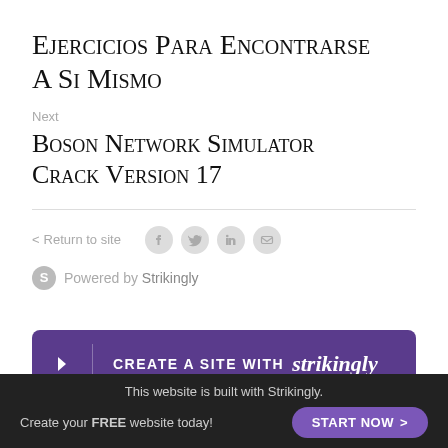Ejercicios Para Encontrarse A Si Mismo
Next
Boson Network Simulator Crack Version 17
< Return to site
Powered by Strikingly
[Figure (infographic): Purple banner: CREATE A SITE WITH strikingly]
This website is built with Strikingly. Create your FREE website today! START NOW >